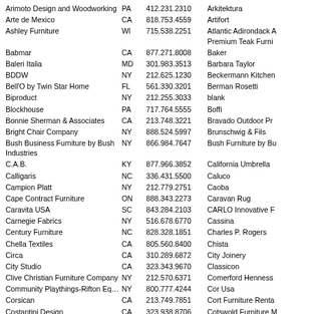| Company | State | Phone | Related |
| --- | --- | --- | --- |
| Arimoto Design and Woodworking | PA | 412.231.2310 | Arkitektura |
| Arte de Mexico | CA | 818.753.4559 | Artifort |
| Ashley Furniture | WI | 715.538.2251 | Atlantic Adirondack A Premium Teak Furni |
| Babmar | CA | 877.271.8008 | Baker |
| Baleri Italia | MD | 301.983.3513 | Barbara Taylor |
| BDDW | NY | 212.625.1230 | Beckermann Kitchen |
| Bell'O by Twin Star Home | FL | 561.330.3201 | Berman Rosetti |
| Biproduct | NY | 212.255.3033 | blank |
| Blockhouse | PA | 717.764.5555 | Boffi |
| Bonnie Sherman & Associates | CA | 213.748.3221 | Bravado Outdoor Pr |
| Bright Chair Company | NY | 888.524.5997 | Brunschwig & Fils |
| Bush Business Furniture by Bush Industries | NY | 866.984.7647 | Bush Furniture by Bu |
| C.A.B. | KY | 877.966.3852 | California Umbrella |
| Calligaris | NC | 336.431.5500 | Caluco |
| Campion Platt | NY | 212.779.2751 | Caoba |
| Cape Contract Furniture | ON | 888.343.2273 | Caravan Rug |
| Caravita USA | SC | 843.284.2103 | CARLO Innovative F |
| Carnegie Fabrics | NY | 516.678.6770 | Cassina |
| Century Furniture | NC | 828.328.1851 | Charles P. Rogers |
| Chella Textiles | CA | 805.560.8400 | Chista |
| Circa | CA | 310.289.6872 | City Joinery |
| City Studio | CA | 323.343.9670 | Classicon |
| Clive Christian Furniture Company | NY | 212.570.6371 | Comerford Henness |
| Community Playthings-Rifton Equipment | NY | 800.777.4244 | Cor Usa |
| Corsican | CA | 213.749.7851 | Cort Furniture Renta |
| Costantini Design | CA | 323.938.8706 | Cotswold Furniture M |
| Country Casual Teak | MD | 800.284.8325 | Crownpoint Cabinetr |
| Cumberland | MI | 800.401.7877 | Cypress Furniture |
| Dakota Jackson | NY | 718.786.8600 | Daniel Jonathan Kop |
| Darran | NC | 800.334.7891 | David Francis Furnitu |
| De La Espada | NY | 212.625.1039 | de Sede of Switzerla |
| Decotek Furniture | CA | 323.550.1709 | deLight |
| Dellarobbia | CA | 949.251.8929 | Design by Nusa |